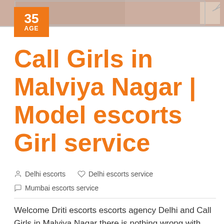[Figure (photo): Top image banner showing a partial photo of a person]
Call Girls in Malviya Nagar | Model escorts Girl service
Delhi escorts   Delhi escorts service   Mumbai escorts service
Welcome Driti escorts escorts agency Delhi and Call Girls in Malviya Nagar there is nothing wrong with calling call girls in Malviya Nagar - these beautiful